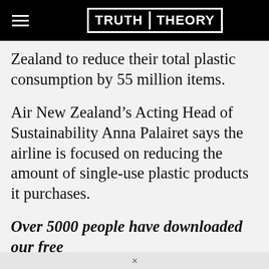TRUTH THEORY
Zealand to reduce their total plastic consumption by 55 million items.
Air New Zealand’s Acting Head of Sustainability Anna Palairet says the airline is focused on reducing the amount of single-use plastic products it purchases.
Over 5000 people have downloaded our free